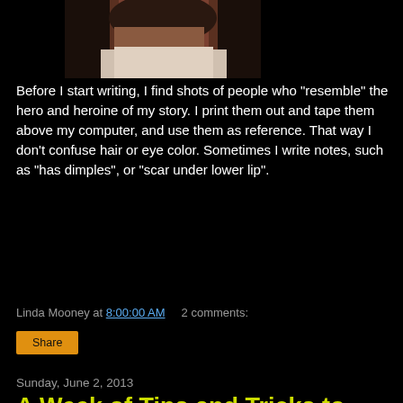[Figure (photo): Cropped photo of a person with dark hair wearing a white top, showing only the upper body/hair area]
Before I start writing, I find shots of people who "resemble" the hero and heroine of my story. I print them out and tape them above my computer, and use them as reference. That way I don't confuse hair or eye color. Sometimes I write notes, such as "has dimples", or "scar under lower lip".
Linda Mooney at 8:00:00 AM    2 comments:
Share
Sunday, June 2, 2013
A Week of Tips and Tricks to Writing - #1 Stuck in a WIP*
[Figure (photo): Photo of a suspension bridge under construction or with tall towers and cables, against a light sky]